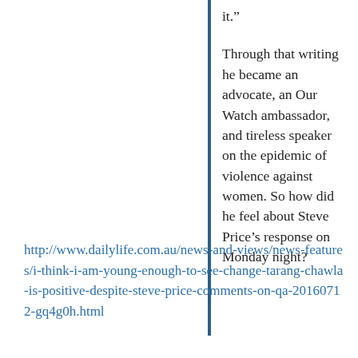it.”
Through that writing he became an advocate, an Our Watch ambassador, and tireless speaker on the epidemic of violence against women. So how did he feel about Steve Price’s response on Monday night?
http://www.dailylife.com.au/news-and-views/news-features/i-think-i-am-young-enough-to-see-change-tarang-chawla-is-positive-despite-steve-price-comments-on-qa-20160712-gq4g0h.html